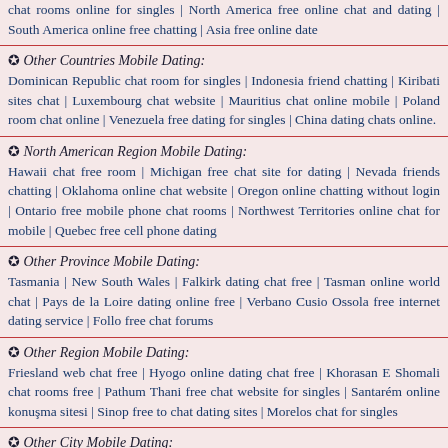chat rooms online for singles | North America free online chat and dating | South America online free chatting | Asia free online date
✪ Other Countries Mobile Dating:
Dominican Republic chat room for singles | Indonesia friend chatting | Kiribati sites chat | Luxembourg chat website | Mauritius chat online mobile | Poland room chat online | Venezuela free dating for singles | China dating chats online.
✪ North American Region Mobile Dating:
Hawaii chat free room | Michigan free chat site for dating | Nevada friends chatting | Oklahoma online chat website | Oregon online chatting without login | Ontario free mobile phone chat rooms | Northwest Territories online chat for mobile | Quebec free cell phone dating
✪ Other Province Mobile Dating:
Tasmania | New South Wales | Falkirk dating chat free | Tasman online world chat | Pays de la Loire dating online free | Verbano Cusio Ossola free internet dating service | Follo free chat forums
✪ Other Region Mobile Dating:
Friesland web chat free | Hyogo online dating chat free | Khorasan E Shomali chat rooms free | Pathum Thani free chat website for singles | Santarém online konuşma sitesi | Sinop free to chat dating sites | Morelos chat for singles
✪ Other City Mobile Dating: